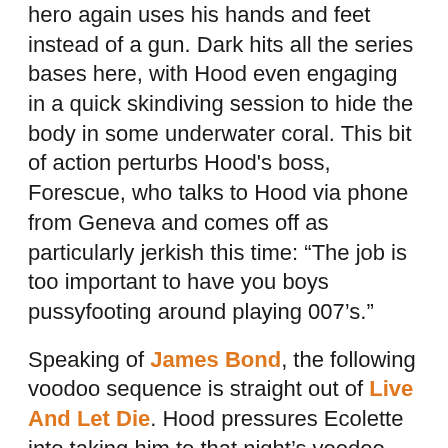hero again uses his hands and feet instead of a gun. Dark hits all the series bases here, with Hood even engaging in a quick skindiving session to hide the body in some underwater coral. This bit of action perturbs Hood's boss, Forescue, who talks to Hood via phone from Geneva and comes off as particularly jerkish this time: "The job is too important to have you boys pussyfooting around playing 007's."
Speaking of James Bond, the following voodoo sequence is straight out of Live And Let Die. Hood pressures Ecolette into taking him to that night's voodoo ceremony in the hills, and they watch from afar as a woman is sacrificed. But they're spotted, and Hood takes off, making use of Sangster's Land Rover on the rugged terrain as men with torches and guns chase him; a thrilling sequence that rivals anything by Ian MacAlister. You can almost hear Mandigo's The Primeval Rhythm Of Life on the soundtrack playing in your imagination. Even here Hood manages to only use his hands in the action scenes, at one point memorably breaking a dude's hand through the Land Rover's door window and sticking the torch back in the guy's